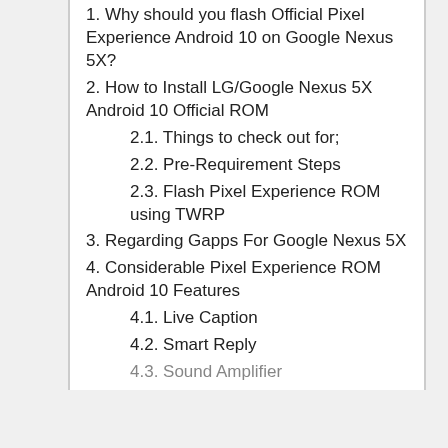1. Why should you flash Official Pixel Experience Android 10 on Google Nexus 5X?
2. How to Install LG/Google Nexus 5X Android 10 Official ROM
2.1. Things to check out for;
2.2. Pre-Requirement Steps
2.3. Flash Pixel Experience ROM using TWRP
3. Regarding Gapps For Google Nexus 5X
4. Considerable Pixel Experience ROM Android 10 Features
4.1. Live Caption
4.2. Smart Reply
4.3. Sound Amplifier